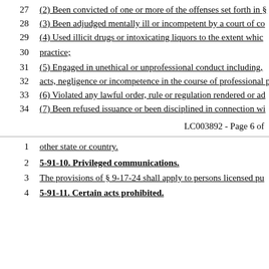27   (2) Been convicted of one or more of the offenses set forth in §
28   (3) Been adjudged mentally ill or incompetent by a court of co
29   (4) Used illicit drugs or intoxicating liquors to the extent whic
30   practice;
31   (5) Engaged in unethical or unprofessional conduct including,
32   acts, negligence or incompetence in the course of professional pra
33   (6) Violated any lawful order, rule or regulation rendered or ad
34   (7) Been refused issuance or been disciplined in connection wi
LC003892 - Page 6 of
1   other state or country.
2   5-91-10. Privileged communications.
3   The provisions of § 9-17-24 shall apply to persons licensed pu
4   5-91-11. Certain acts prohibited.